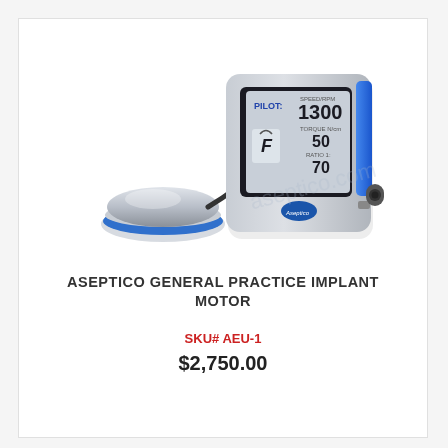[Figure (photo): Photo of Aseptico General Practice Implant Motor — a dental implant motor unit with a digital LCD display showing PILOT mode with speed 1300 RPM, torque 50, and ratio 70, in silver/blue color with a foot pedal controller beside it.]
ASEPTICO GENERAL PRACTICE IMPLANT MOTOR
SKU# AEU-1
$2,750.00